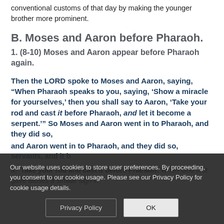conventional customs of that day by making the younger brother more prominent.
B. Moses and Aaron before Pharaoh.
1. (8-10) Moses and Aaron appear before Pharaoh again.
Then the LORD spoke to Moses and Aaron, saying, “When Pharaoh speaks to you, saying, ‘Show a miracle for yourselves,’ then you shall say to Aaron, ‘Take your rod and cast it before Pharaoh, and let it become a serpent.’” So Moses and Aaron went in to Pharaoh, and they did so,
servants, and it b
a. Take your rod and cast it before Pharaoh: When God first gave Moses a similar sign in
Our website uses cookies to store user preferences. By proceeding, you consent to our cookie usage. Please see our Privacy Policy for cookie usage details.